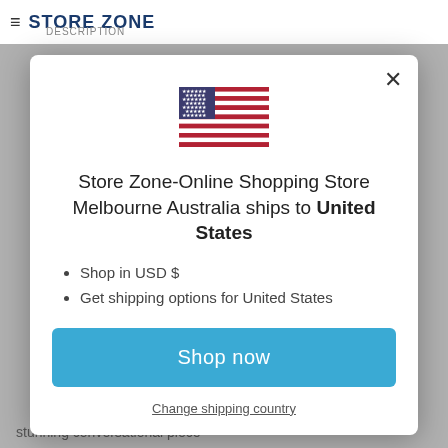≡ STORE ZONE DESCRIPTION
[Figure (screenshot): Modal popup dialog on an e-commerce site showing a US flag, a shipping destination message, bullet points, a Shop now button, and a Change shipping country link]
Store Zone-Online Shopping Store Melbourne Australia ships to United States
Shop in USD $
Get shipping options for United States
Shop now
Change shipping country
stunning conversational piece